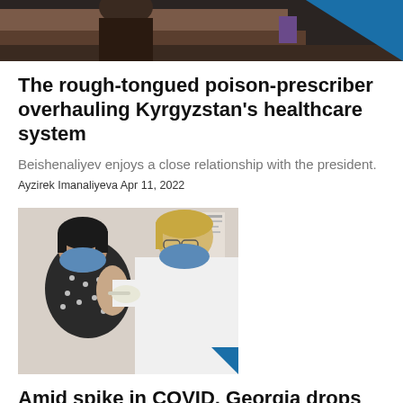[Figure (photo): Top portion of a news article photo showing a person at what appears to be an official setting, partially cropped]
The rough-tongued poison-prescriber overhauling Kyrgyzstan’s healthcare system
Beishenaliyev enjoys a close relationship with the president.
Ayzirek Imanaliyeva Apr 11, 2022
[Figure (photo): Photo of a woman in a black polka-dot dress and blue face mask receiving a vaccine injection from a healthcare worker in a white coat and blue face mask]
Amid spike in COVID, Georgia drops passport system